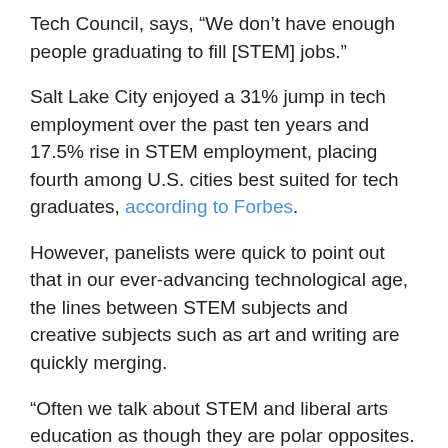Tech Council, says, “We don’t have enough people graduating to fill [STEM] jobs.”
Salt Lake City enjoyed a 31% jump in tech employment over the past ten years and 17.5% rise in STEM employment, placing fourth among U.S. cities best suited for tech graduates, according to Forbes.
However, panelists were quick to point out that in our ever-advancing technological age, the lines between STEM subjects and creative subjects such as art and writing are quickly merging.
“Often we talk about STEM and liberal arts education as though they are polar opposites. They are not,” Huftalin says. “Every industry now has some element of STEM and technology.”